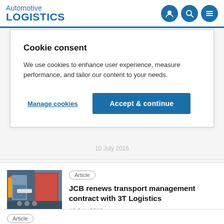Automotive LOGISTICS
Cookie consent
We use cookies to enhance user experience, measure performance, and tailor our content to your needs.
Manage cookies
Accept & continue
13 July 2016
Article
JCB renews transport management contract with 3T Logistics
13 July 2016
Article